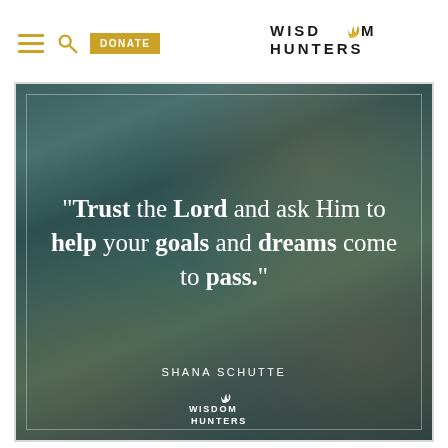Wisdom Hunters — navigation header with hamburger menu, search, donate button, and logo
[Figure (illustration): Quote image card with teal/dark green abstract painted background, white inner border frame, large quote text reading: "Trust the Lord and ask Him to help your goals and dreams come to pass." attributed to Shana Schutte, with Wisdom Hunters logo at bottom center.]